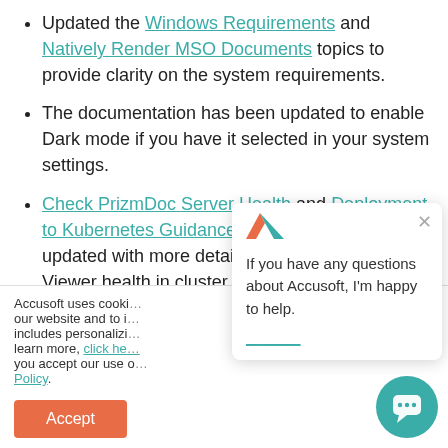Updated the Windows Requirements and Natively Render MSO Documents topics to provide clarity on the system requirements.
The documentation has been updated to enable Dark mode if you have it selected in your system settings.
Check PrizmDoc Server Health and Deployment to Kubernetes Guidance topics have been updated with more details on checking PrizmDoc Viewer health in cluster and Kubernetes environments.
Accusoft uses cookies to enhance your experience on our website and to improve our services. This includes personalizing content. To learn more, click here. By continuing to use our site, you accept our use of cookies and our Privacy Policy.
[Figure (screenshot): Chat popup overlay: 'If you have any questions about Accusoft, I'm happy to help.' with a close button (×) and a teal chat bubble icon in the bottom right corner.]